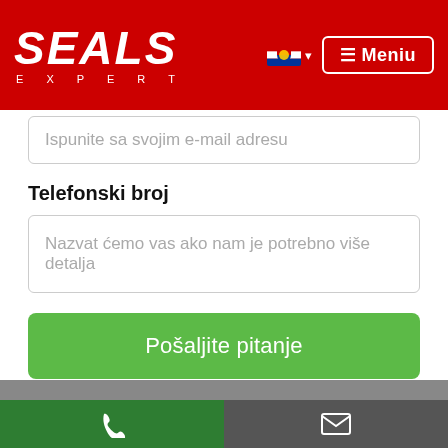[Figure (logo): Seals Expert logo in white italic text on red background with 'EXPERT' subtitle in spaced letters]
Ispunite sa svojim e-mail adresu
Telefonski broj
Nazvat ćemo vas ako nam je potrebno više detalja
Pošaljite pitanje
Trebate podršku?
Paul Grigoraș
croatia@sealsexpert.com +40 740 300 363